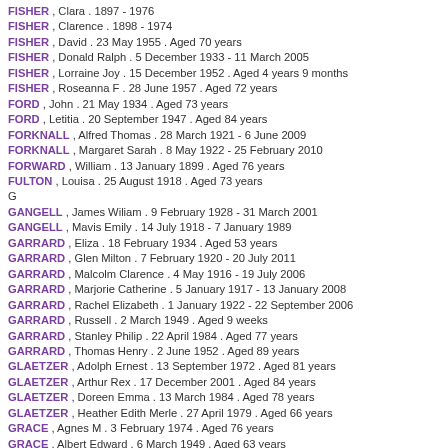FISHER , Clara . 1897 - 1976
FISHER , Clarence . 1898 - 1974
FISHER , David . 23 May 1955 . Aged 70 years
FISHER , Donald Ralph . 5 December 1933 - 11 March 2005
FISHER , Lorraine Joy . 15 December 1952 . Aged 4 years 9 months
FISHER , Roseanna F . 28 June 1957 . Aged 72 years
FORD , John . 21 May 1934 . Aged 73 years
FORD , Letitia . 20 September 1947 . Aged 84 years
FORKNALL , Alfred Thomas . 28 March 1921 - 6 June 2009
FORKNALL , Margaret Sarah . 8 May 1922 - 25 February 2010
FORWARD , William . 13 January 1899 . Aged 76 years
FULTON , Louisa . 25 August 1918 . Aged 73 years
G
GANGELL , James Wiliam . 9 February 1928 - 31 March 2001
GANGELL , Mavis Emily . 14 July 1918 - 7 January 1989
GARRARD , Eliza . 18 February 1934 . Aged 53 years
GARRARD , Glen Milton . 7 February 1920 - 20 July 2011
GARRARD , Malcolm Clarence . 4 May 1916 - 19 July 2006
GARRARD , Marjorie Catherine . 5 January 1917 - 13 January 2008
GARRARD , Rachel Elizabeth . 1 January 1922 - 22 September 2006
GARRARD , Russell . 2 March 1949 . Aged 9 weeks
GARRARD , Stanley Philip . 22 April 1984 . Aged 77 years
GARRARD , Thomas Henry . 2 June 1952 . Aged 89 years
GLAETZER , Adolph Ernest . 13 September 1972 . Aged 81 years
GLAETZER , Arthur Rex . 17 December 2001 . Aged 84 years
GLAETZER , Doreen Emma . 13 March 1984 . Aged 78 years
GLAETZER , Heather Edith Merle . 27 April 1979 . Aged 66 years
GRACE , Agnes M . 3 February 1974 . Aged 76 years
GRACE , Albert Edward . 6 March 1949 . Aged 63 years
GRACE , Alfred . 6 March 1958 . Aged 65 years